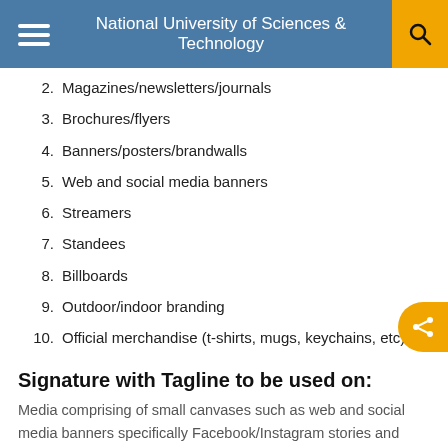National University of Sciences & Technology
2. Magazines/newsletters/journals
3. Brochures/flyers
4. Banners/posters/brandwalls
5. Web and social media banners
6. Streamers
7. Standees
8. Billboards
9. Outdoor/indoor branding
10. Official merchandise (t-shirts, mugs, keychains, etc)
Signature with Tagline to be used on:
Media comprising of small canvases such as web and social media banners specifically Facebook/Instagram stories and posts.
1. Banners/posters/brandwalls